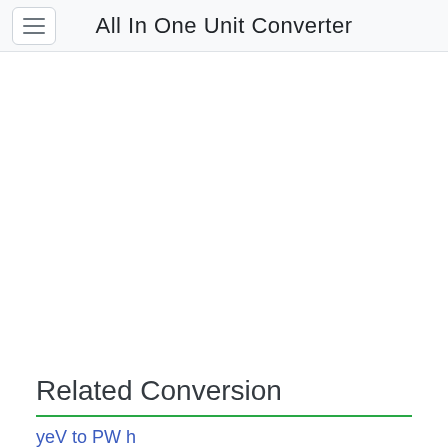All In One Unit Converter
Related Conversion
yeV to PW h